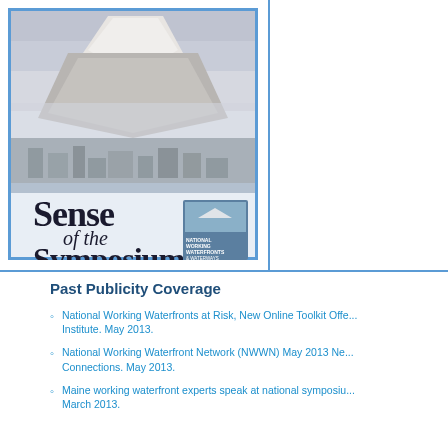[Figure (illustration): Cover of 'Sense of the Symposium' publication featuring a mountain (likely Mt. Rainier) with a cityscape, large stylized text reading 'Sense of the Symposium', and a small logo for National Working Waterfronts & Waterways Symposium. Dates: March 25-28, 2013, Tacoma, Washington.]
Past Publicity Coverage
National Working Waterfronts at Risk, New Online Toolkit Offered by Sea Grant Institute. May 2013.
National Working Waterfront Network (NWWN) May 2013 Newsletter: Connections. May 2013.
Maine working waterfront experts speak at national symposium. March 2013.